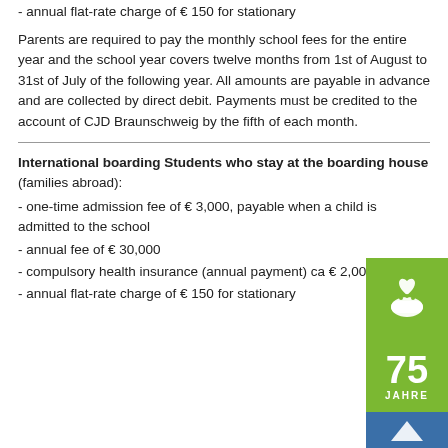- annual flat-rate charge of € 150 for stationary
Parents are required to pay the monthly school fees for the entire year and the school year covers twelve months from 1st of August to 31st of July of the following year. All amounts are payable in advance and are collected by direct debit. Payments must be credited to the account of CJD Braunschweig by the fifth of each month.
International boarding Students who stay at the boarding house (families abroad):
- one-time admission fee of € 3,000, payable when a child is admitted to the school
- annual fee of € 30,000
- compulsory health insurance (annual payment) ca € 2,000
- annual flat-rate charge of € 150 for stationary
[Figure (logo): CJD 75 Jahre anniversary logo with green and blue blocks]